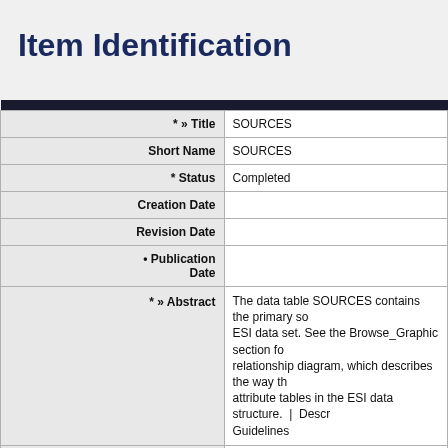Item Identification
| Field | Value |
| --- | --- |
| * » Title | SOURCES |
| Short Name | SOURCES |
| * Status | Completed |
| Creation Date |  |
| Revision Date |  |
| • Publication Date |  |
| * » Abstract | The data table SOURCES contains the primary so... ESI data set. See the Browse_Graphic section for... relationship diagram, which describes the way th... attribute tables in the ESI data structure. | Descr... Guidelines |
| * Purpose |  |